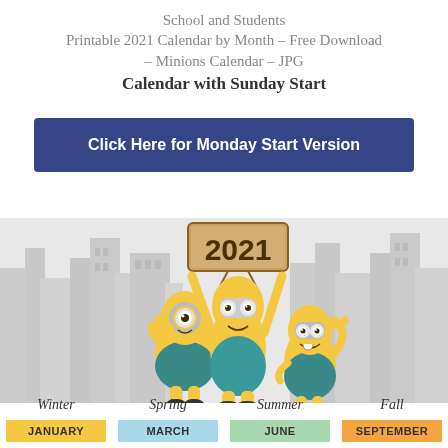School and Students
Printable 2021 Calendar by Month – Free Download – Minions Calendar – JPG
Calendar with Sunday Start
Click Here for Monday Start Version
[Figure (illustration): Three Minion characters from Despicable Me holding a sign that reads '2021', set against a grey city skyline background. Below are season labels: Winter, Spring, Summer, Fall.]
Winter   Spring   Summer   Fall
JANUARY   MARCH   JUNE   SEPTEMBER